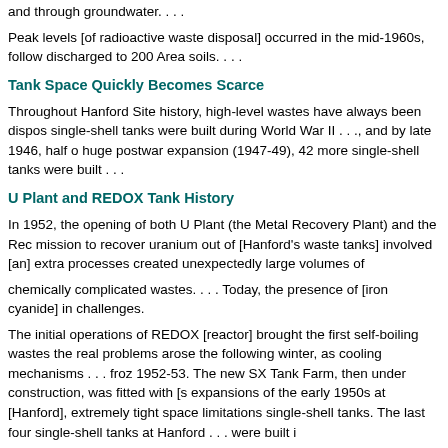and through groundwater. . . .
Peak levels [of radioactive waste disposal] occurred in the mid-1960s, follow discharged to 200 Area soils. . . .
Tank Space Quickly Becomes Scarce
Throughout Hanford Site history, high-level wastes have always been dispos single-shell tanks were built during World War II . . ., and by late 1946, half o huge postwar expansion (1947-49), 42 more single-shell tanks were built . . .
U Plant and REDOX Tank History
In 1952, the opening of both U Plant (the Metal Recovery Plant) and the Rec mission to recover uranium out of [Hanford's waste tanks] involved [an] extra processes created unexpectedly large volumes of
chemically complicated wastes. . . . Today, the presence of [iron cyanide] in challenges.
The initial operations of REDOX [reactor] brought the first self-boiling wastes the real problems arose the following winter, as cooling mechanisms . . . froz 1952-53. The new SX Tank Farm, then under construction, was fitted with [s expansions of the early 1950s at [Hanford], extremely tight space limitations single-shell tanks. The last four single-shell tanks at Hanford . . . were built i
No tank leaks were reported at Hanford before the early 1950s, although so The first significant, confirmed tank leak occurred . . . in 1956 (55,000 gallon gallons escaped. Today, 66 single-shell tanks are listed as "assumed" leaker